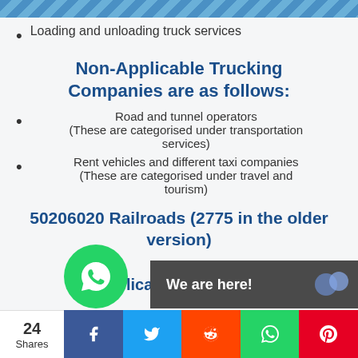Loading and unloading truck services
Non-Applicable Trucking Companies are as follows:
Road and tunnel operators (These are categorised under transportation services)
Rent vehicles and different taxi companies (These are categorised under travel and tourism)
50206020 Railroads (2775 in the older version)
licable  We are here!
24 Shares  f  twitter  reddit  whatsapp  pinterest